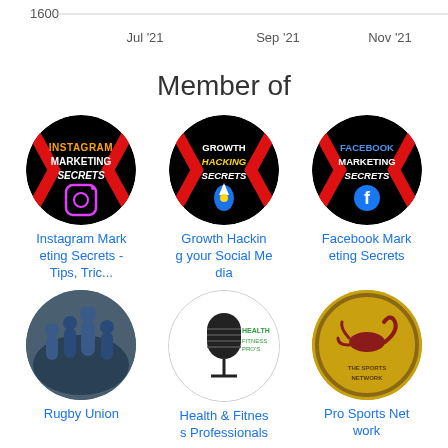[Figure (continuous-plot): Top portion of a line chart showing axis label '1600' on y-axis and time labels 'Jul 21', 'Sep 21', 'Nov 21' on x-axis]
Member of
[Figure (logo): Instagram Marketing Secrets group icon - black circle with red chevron borders, orange/yellow text 'INSTAGRAM MARKETING SECRETS' with Instagram logo]
Instagram Marketing Secrets - Tips, Tric...
[Figure (logo): Growth Hacking Secrets group icon - black circle with red chevron borders, yellow text 'GROWTH HACKING SECRETS' with rocket icon]
Growth Hacking your Social Media
[Figure (logo): Facebook Marketing Secrets group icon - black circle with red chevron borders, blue text 'FACEBOOK MARKETING SECRETS' with Facebook logo]
Facebook Marketing Secrets
[Figure (photo): Rugby Union group icon - circular photo of rugby players in blue uniforms lifting a player]
Rugby Union
[Figure (logo): Health Fitness Professionals group icon - circular black and white microphone graphic with green text 'HEALTH FITNESS PROS']
Health & Fitness Professionals
[Figure (logo): Pro Sports Network group icon - circular yellow/gold badge with sports network branding and scorpion]
Pro Sports Network
[Figure (photo): Partial circular icon visible at bottom left - dark silhouette]
[Figure (photo): Partial circular icon visible at bottom center - person portrait]
[Figure (logo): Partial circular icon visible at bottom right - pink/magenta 'VIRAL' text badge]